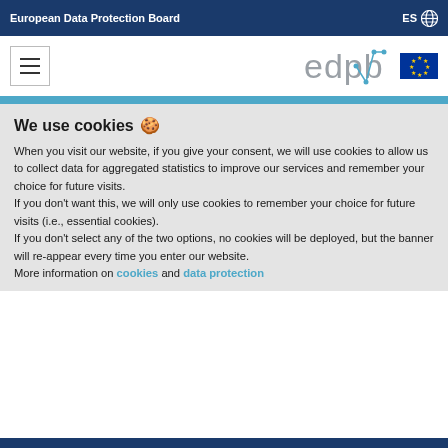European Data Protection Board   ES 🌐
[Figure (logo): EDPB logo with hamburger menu icon and EU flag]
We use cookies 🍪
When you visit our website, if you give your consent, we will use cookies to allow us to collect data for aggregated statistics to improve our services and remember your choice for future visits.
If you don't want this, we will only use cookies to remember your choice for future visits (i.e., essential cookies).
If you don't select any of the two options, no cookies will be deployed, but the banner will re-appear every time you enter our website.
More information on cookies and data protection